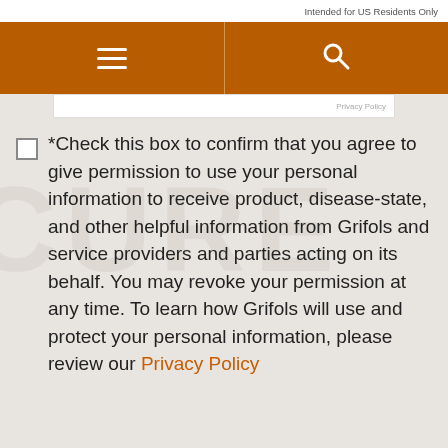Intended for US Residents Only
[Figure (screenshot): Orange navigation bar with hamburger menu icon on left and search icon on right, divided by a vertical line]
Privacy Policy
*Check this box to confirm that you agree to give permission to use your personal information to receive product, disease-state, and other helpful information from Grifols and service providers and parties acting on its behalf. You may revoke your permission at any time. To learn how Grifols will use and protect your personal information, please review our Privacy Policy